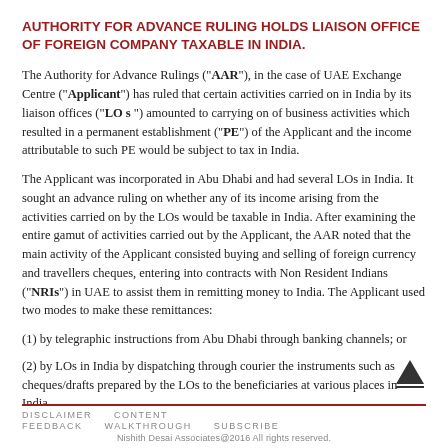AUTHORITY FOR ADVANCE RULING HOLDS LIAISON OFFICE OF FOREIGN COMPANY TAXABLE IN INDIA.
The Authority for Advance Rulings ("AAR"), in the case of UAE Exchange Centre ("Applicant") has ruled that certain activities carried on in India by its liaison offices ("LO s ") amounted to carrying on of business activities which resulted in a permanent establishment ("PE") of the Applicant and the income attributable to such PE would be subject to tax in India.
The Applicant was incorporated in Abu Dhabi and had several LOs in India. It sought an advance ruling on whether any of its income arising from the activities carried on by the LOs would be taxable in India. After examining the entire gamut of activities carried out by the Applicant, the AAR noted that the main activity of the Applicant consisted buying and selling of foreign currency and travellers cheques, entering into contracts with Non Resident Indians ("NRIs") in UAE to assist them in remitting money to India. The Applicant used two modes to make these remittances:
(1) by telegraphic instructions from Abu Dhabi through banking channels; or
(2) by LOs in India by dispatching through courier the instruments such as cheques/drafts prepared by the LOs to the beneficiaries at various places in India.
DISCLAIMER   CONTENT
FEEDBACK   WALKTHROUGH   SUBSCRIBE
Nishith Desai Associates@2016 All rights reserved.